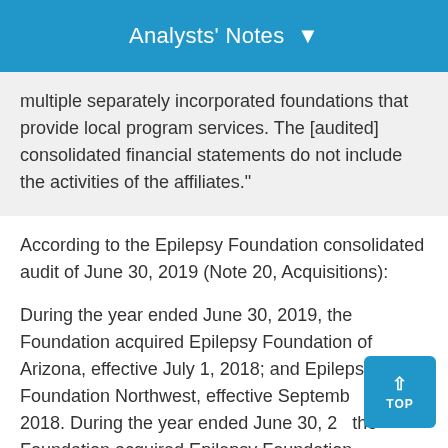Analysts' Notes
multiple separately incorporated foundations that provide local program services. The [audited] consolidated financial statements do not include the activities of the affiliates."
According to the Epilepsy Foundation consolidated audit of June 30, 2019 (Note 20, Acquisitions):
During the year ended June 30, 2019, the Foundation acquired Epilepsy Foundation of Arizona, effective July 1, 2018; and Epilepsy Foundation Northwest, effective September 30, 2018. During the year ended June 30, 2... the Foundation acquired Epilepsy Foundation of...